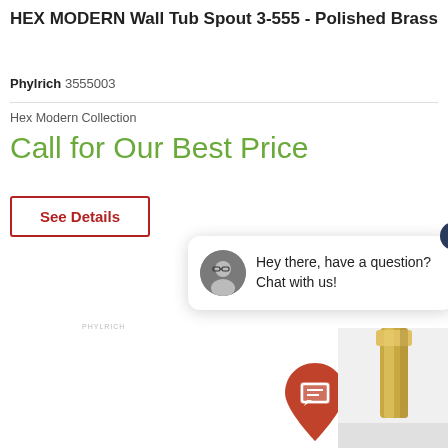HEX MODERN Wall Tub Spout 3-555 - Polished Brass
Phylrich 3555003
Hex Modern Collection
Call for Our Best Price
See Details
[Figure (screenshot): Chat widget overlay with avatar photo, message 'Hey there, have a question? Chat with us!', close button, and orange chat FAB button]
[Figure (photo): Partial product photo of a polished brass wall tub spout visible at bottom right corner]